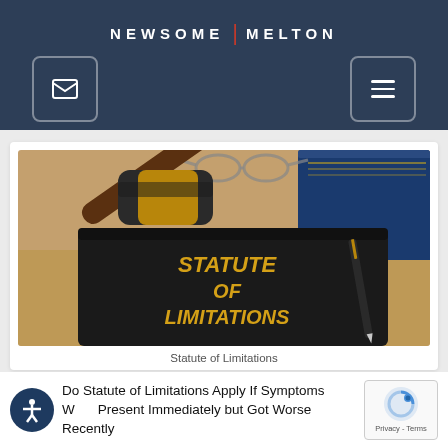NEWSOME | MELTON
[Figure (photo): A black book titled 'STATUTE OF LIMITATIONS' with a judge's gavel resting on top, a fountain pen, glasses, and a blue book in the background on a wooden desk.]
Statute of Limitations
Do Statute of Limitations Apply If Symptoms Were Present Immediately but Got Worse Recently